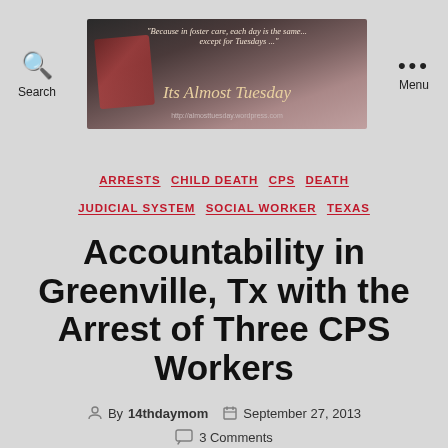Search | Its Almost Tuesday blog banner | Menu
[Figure (screenshot): Blog header banner for 'Its Almost Tuesday' with text 'Because in foster care, each day is the same... except for Tuesdays...' and URL http://almosttuesday.wordpress.com]
ARRESTS  CHILD DEATH  CPS  DEATH  JUDICIAL SYSTEM  SOCIAL WORKER  TEXAS
Accountability in Greenville, Tx with the Arrest of Three CPS Workers
By 14thdaymom   September 27, 2013   3 Comments